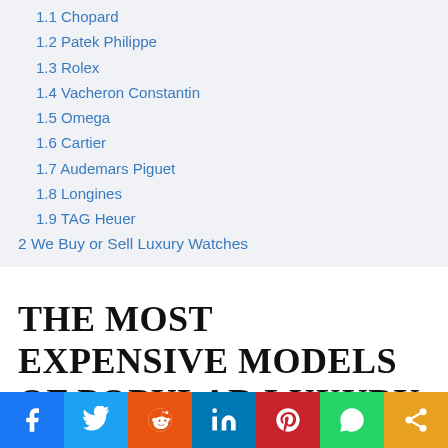1.1 Chopard
1.2 Patek Philippe
1.3 Rolex
1.4 Vacheron Constantin
1.5 Omega
1.6 Cartier
1.7 Audemars Piguet
1.8 Longines
1.9 TAG Heuer
2 We Buy or Sell Luxury Watches
THE MOST EXPENSIVE MODELS OF POPULAR LUXURY WATCHES